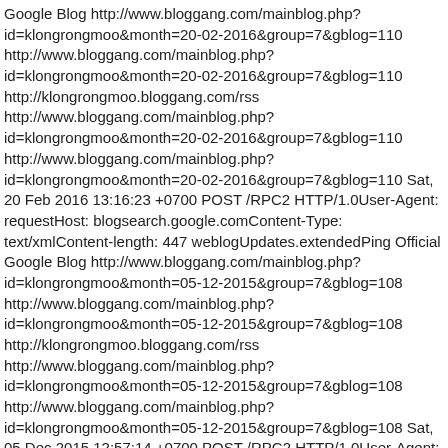Google Blog http://www.bloggang.com/mainblog.php?id=klongrongmoo&month=20-02-2016&group=7&gblog=110 http://www.bloggang.com/mainblog.php?id=klongrongmoo&month=20-02-2016&group=7&gblog=110 http://klongrongmoo.bloggang.com/rss http://www.bloggang.com/mainblog.php?id=klongrongmoo&month=20-02-2016&group=7&gblog=110 http://www.bloggang.com/mainblog.php?id=klongrongmoo&month=20-02-2016&group=7&gblog=110 Sat, 20 Feb 2016 13:16:23 +0700 POST /RPC2 HTTP/1.0User-Agent: requestHost: blogsearch.google.comContent-Type: text/xmlContent-length: 447 weblogUpdates.extendedPing Official Google Blog http://www.bloggang.com/mainblog.php?id=klongrongmoo&month=05-12-2015&group=7&gblog=108 http://www.bloggang.com/mainblog.php?id=klongrongmoo&month=05-12-2015&group=7&gblog=108 http://klongrongmoo.bloggang.com/rss http://www.bloggang.com/mainblog.php?id=klongrongmoo&month=05-12-2015&group=7&gblog=108 http://www.bloggang.com/mainblog.php?id=klongrongmoo&month=05-12-2015&group=7&gblog=108 Sat, 05 Dec 2015 12:57:14 +0700 POST /RPC2 HTTP/1.0User-Agent: requestHost: blogsearch.google.comContent-Type: text/xmlContent-length: 447 weblogUpdates.extendedPing Official Google Blog http://www.bloggang.com/mainblog.php?id=klongrongmoo&month=13-07-2015&group=7&gblog=107